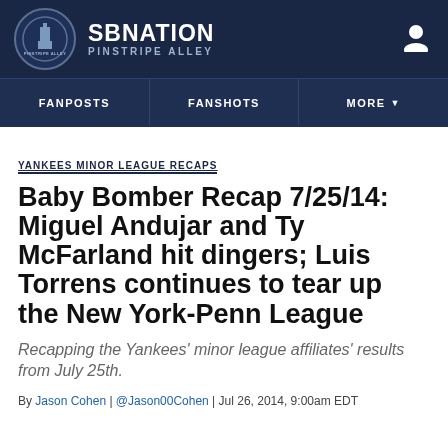SB NATION PINSTRIPE ALLEY
YANKEES MINOR LEAGUE RECAPS
Baby Bomber Recap 7/25/14: Miguel Andujar and Ty McFarland hit dingers; Luis Torrens continues to tear up the New York-Penn League
Recapping the Yankees' minor league affiliates' results from July 25th.
By Jason Cohen | @Jason00Cohen | Jul 26, 2014, 9:00am EDT